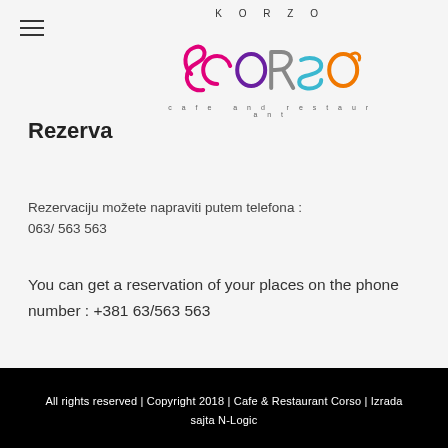[Figure (logo): Corso Cafe and Restaurant logo with colorful letters and KORZO text above, tagline 'cafe and restaurant' below]
Rezerva
Rezervaciju možete napraviti putem telefona : 063/ 563 563
You can get a reservation of your places on the phone number : +381 63/563 563
All rights reserved | Copyright 2018 | Cafe & Restaurant Corso | Izrada sajta N-Logic